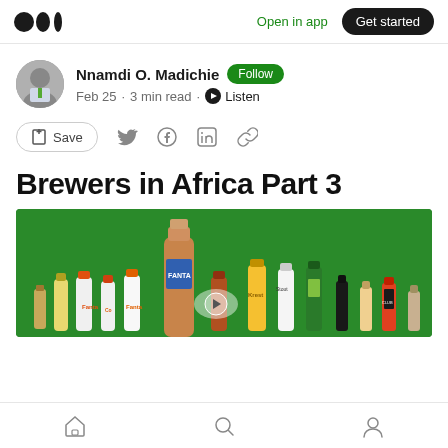Medium app header — Open in app | Get started
Nnamdi O. Madichie · Follow
Feb 25 · 3 min read · Listen
Save (with social share icons: Twitter, Facebook, LinkedIn, Link)
Brewers in Africa Part 3
[Figure (photo): Product photo showing multiple beverage bottles (Fanta, Coca-Cola, and other drinks) arranged against a green background]
Bottom navigation bar: Home, Search, Profile